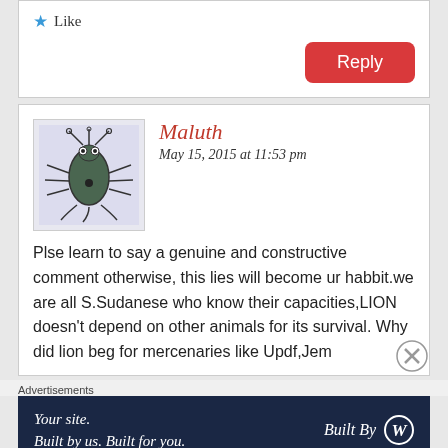Like
Reply
Maluth
May 15, 2015 at 11:53 pm
[Figure (illustration): Bug/spider cartoon avatar with dark green oval body, antennae, and multiple legs on a light purple background]
Plse learn to say a genuine and constructive comment otherwise, this lies will become ur habbit.we are all S.Sudanese who know their capacities,LION doesn't depend on other animals for its survival. Why did lion beg for mercenaries like Updf,Jem
Advertisements
Your site.
Built by us. Built for you.
Built By [WordPress logo]